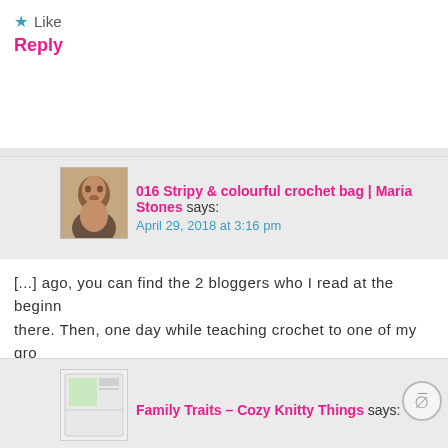★ Like
Reply
016 Stripy & colourful crochet bag | Maria Stones says:
April 29, 2018 at 3:16 pm
[...] ago, you can find the 2 bloggers who I read at the beginn there. Then, one day while teaching crochet to one of my gro
★ Like
Reply
[Figure (photo): User avatar photo of commenter]
Family Traits – Cozy Knitty Things says:
Advertisements
[Figure (infographic): DuckDuckGo advertisement banner: Search, browse, and email with more privacy. All in One Free App]